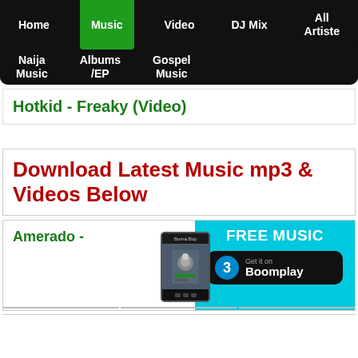Home | Music | Video | DJ Mix | All Artiste | Naija Music | Albums/EP | Gospel Music
Hotkid - Freaky (Video)
Download Latest Music mp3 & Videos Below
Amerado -
[Figure (screenshot): Boomplay FREE MUSIC advertisement banner with a phone screenshot showing Burna Boy on a music app, and a Boomplay Get it on button]